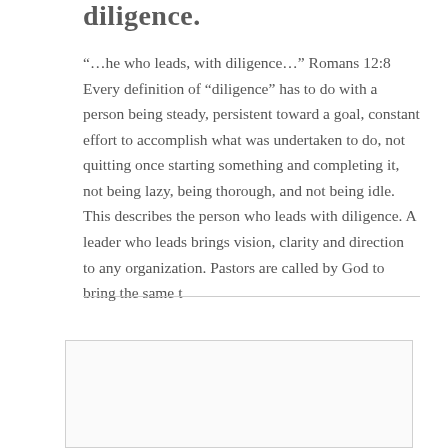diligence.
“…he who leads, with diligence…” Romans 12:8 Every definition of “diligence” has to do with a person being steady, persistent toward a goal, constant effort to accomplish what was undertaken to do, not quitting once starting something and completing it, not being lazy, being thorough, and not being idle. This describes the person who leads with diligence. A leader who leads brings vision, clarity and direction to any organization. Pastors are called by God to bring the same t
[Figure (other): Empty box or image placeholder at the bottom of the page]